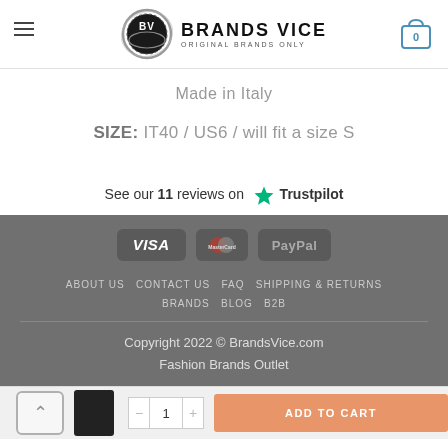[Figure (logo): Brands Vice logo with circular BV emblem and text 'BRANDS VICE / ORIGINAL BRANDS ONLY']
Made in Italy
SIZE:  IT40 / US6 / will fit a size S
See our 11 reviews on ★ Trustpilot
[Figure (logo): Payment badges: VISA, MasterCard, PayPal]
ABOUT US  CONTACT US  FAQ  SHIPPING & RETURNS  BRANDS  BLOG  B2B
Copyright 2022 © BrandsVice.com
Fashion Brands Outlet